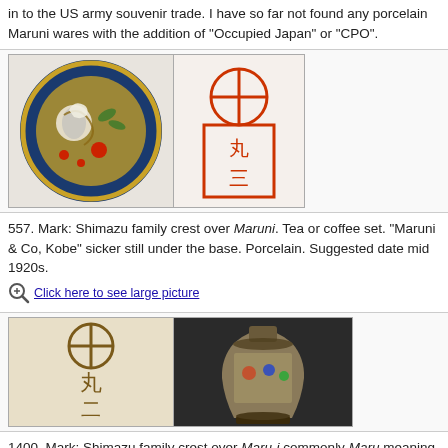in to the US army souvenir trade. I have so far not found any porcelain Maruni wares with the addition of "Occupied Japan" or "CPO".
[Figure (photo): Two images side by side: a decorative plate with colorful cloisonne design (left) and a red maker's mark showing Shimazu crest over Maruni characters (right).]
557. Mark: Shimazu family crest over Maruni. Tea or coffee set. "Maruni & Co, Kobe" sicker still under the base. Porcelain. Suggested date mid 1920s.
Click here to see large picture
[Figure (photo): Two images side by side: a maker's mark showing Shimazu crest over Maru-i characters in brown ink (left) and a satsuma-style vase with colorful figurative decoration (right).]
1400. Mark: Shimazu family crest over Maru-i commonly Maru meaning "round" or "circular". Pair of vases. Porcelain. Likely date 1920s-30s.
Click here to see large picture
[Figure (photo): Partial image visible at bottom of page, appears to be another ceramic item.]